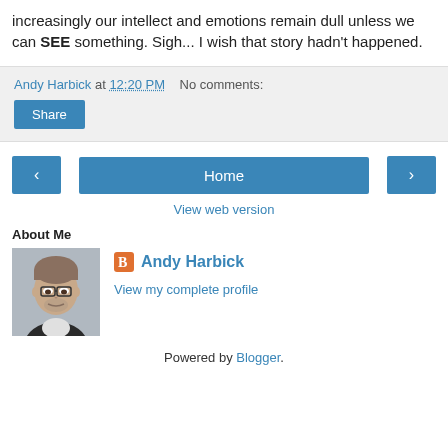increasingly our intellect and emotions remain dull unless we can SEE something. Sigh... I wish that story hadn't happened.
Andy Harbick at 12:20 PM   No comments:
Share
‹   Home   ›
View web version
About Me
[Figure (photo): Profile photo of Andy Harbick, a man with glasses and short hair, wearing a dark jacket]
Andy Harbick
View my complete profile
Powered by Blogger.